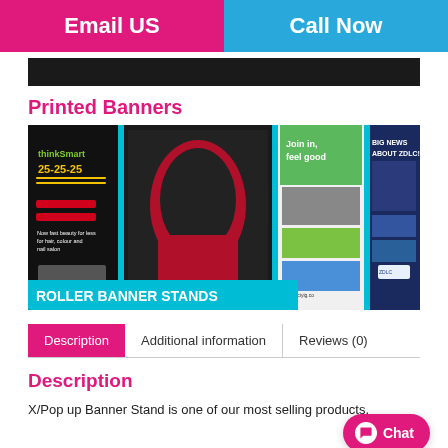Email US | Call Now
[Figure (photo): Dark banner/image strip at top of page content]
Printed Banners
[Figure (photo): Photo of multiple roller banner stands displayed at an exhibition, with overlay text ROLLER BANNER STANDS]
Description | Additional information | Reviews (0)
Description
X/Pop up Banner Stand is one of our most selling products.
Chat